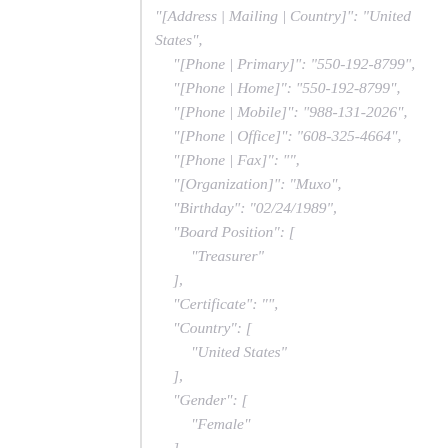"[Address | Mailing | Country]": "United States",
"[Phone | Primary]": "550-192-8799",
"[Phone | Home]": "550-192-8799",
"[Phone | Mobile]": "988-131-2026",
"[Phone | Office]": "608-325-4664",
"[Phone | Fax]": "",
"[Organization]": "Muxo",
"Birthday": "02/24/1989",
"Board Position": [
  "Treasurer"
],
"Certificate": "",
"Country": [
  "United States"
],
"Gender": [
  "Female"
],